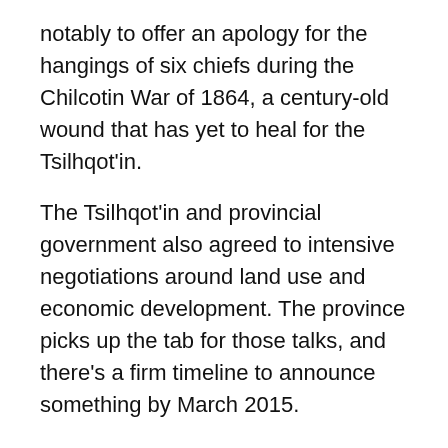notably to offer an apology for the hangings of six chiefs during the Chilcotin War of 1864, a century-old wound that has yet to heal for the Tsilhqot'in.
The Tsilhqot'in and provincial government also agreed to intensive negotiations around land use and economic development. The province picks up the tab for those talks, and there's a firm timeline to announce something by March 2015.
Is the William decision a game changer?
It will lead to more First Nations involvement in land-use decisions, more First Nations seats in corporate boardrooms.
But, if First Nations don't end up playing the key roles they now demand, no one should be surprised if B.C. is awash